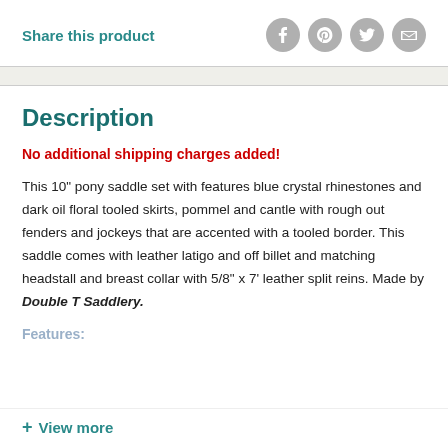Share this product
[Figure (other): Social sharing icons: Facebook, Pinterest, Twitter, Email — gray circular buttons]
Description
No additional shipping charges added!
This 10" pony saddle set with features blue crystal rhinestones and dark oil floral tooled skirts, pommel and cantle with rough out fenders and jockeys that are accented with a tooled border.  This saddle comes with leather latigo and off billet and matching headstall and breast collar with 5/8" x 7' leather split reins.  Made by Double T Saddlery.
Features:
+ View more